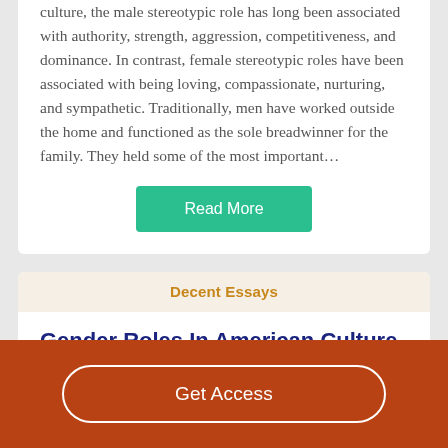culture, the male stereotypic role has long been associated with authority, strength, aggression, competitiveness, and dominance. In contrast, female stereotypic roles have been associated with being loving, compassionate, nurturing, and sympathetic. Traditionally, men have worked outside the home and functioned as the sole breadwinner for the family. They held some of the most important…
Read More
Decent Essays
Gender Roles In American Culture
Get Access